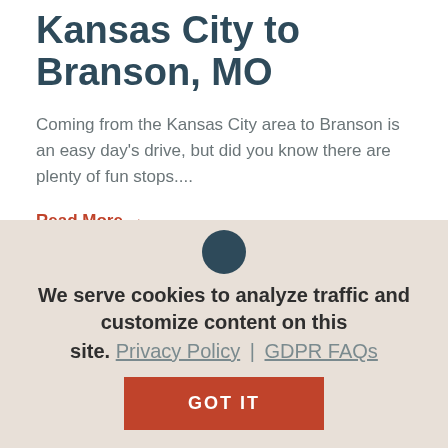Kansas City to Branson, MO
Coming from the Kansas City area to Branson is an easy day's drive, but did you know there are plenty of fun stops....
Read More →
We serve cookies to analyze traffic and customize content on this site. Privacy Policy | GDPR FAQs
GOT IT